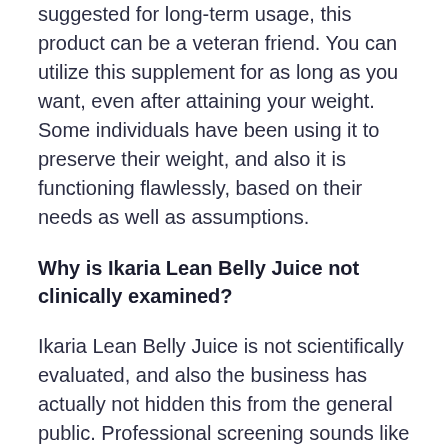suggested for long-term usage, this product can be a veteran friend. You can utilize this supplement for as long as you want, even after attaining your weight. Some individuals have been using it to preserve their weight, and also it is functioning flawlessly, based on their needs as well as assumptions.
Why is Ikaria Lean Belly Juice not clinically examined?
Ikaria Lean Belly Juice is not scientifically evaluated, and also the business has actually not hidden this from the general public. Professional screening sounds like the only effective test for lots of people, yet it is really legitimate for medications only.